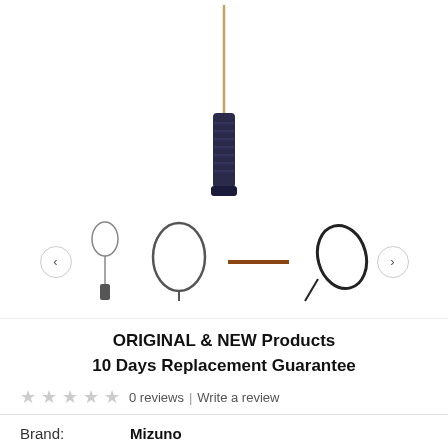[Figure (photo): Badminton racket shown vertically with grip handle visible, dark navy grip wrap, photographed on white background]
[Figure (photo): Thumbnail carousel showing three badminton racket views: full racket small, racket head oval, racket shaft only, and partial racket head at angle. Left and right navigation arrows on sides.]
ORIGINAL & NEW Products
10 Days Replacement Guarantee
0 reviews  |  Write a review
Brand:  Mizuno